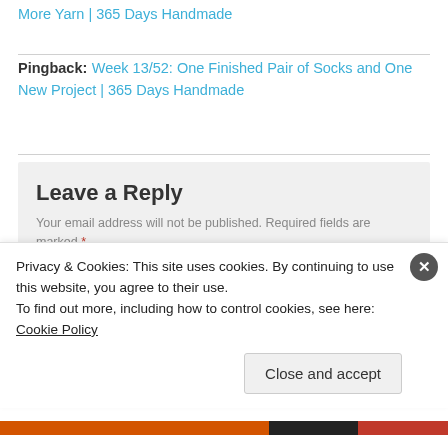More Yarn | 365 Days Handmade
Pingback: Week 13/52: One Finished Pair of Socks and One New Project | 365 Days Handmade
Leave a Reply
Your email address will not be published. Required fields are marked *
Comment *
Privacy & Cookies: This site uses cookies. By continuing to use this website, you agree to their use.
To find out more, including how to control cookies, see here: Cookie Policy
Close and accept